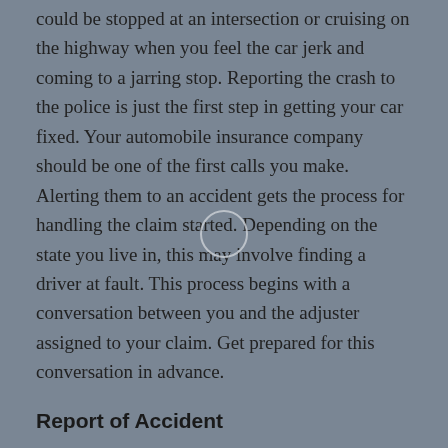could be stopped at an intersection or cruising on the highway when you feel the car jerk and coming to a jarring stop. Reporting the crash to the police is just the first step in getting your car fixed. Your automobile insurance company should be one of the first calls you make. Alerting them to an accident gets the process for handling the claim started. Depending on the state you live in, this may involve finding a driver at fault. This process begins with a conversation between you and the adjuster assigned to your claim. Get prepared for this conversation in advance.
Report of Accident
Your first call to the insurance company will kickstart the claim. This representative will take down all pertinent